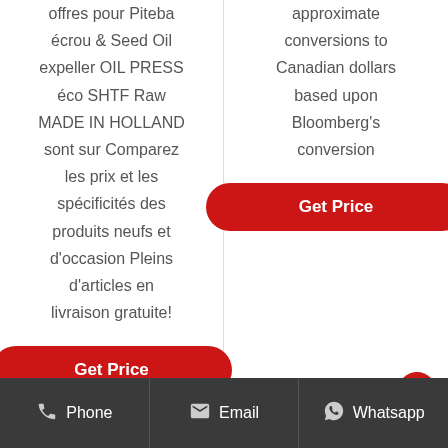offres pour Piteba écrou & Seed Oil expeller OIL PRESS éco SHTF Raw MADE IN HOLLAND sont sur Comparez les prix et les spécificités des produits neufs et d'occasion Pleins d'articles en livraison gratuite!
Get Price
approximate conversions to Canadian dollars based upon Bloomberg's conversion
Get Price
Phone   Email   Whatsapp